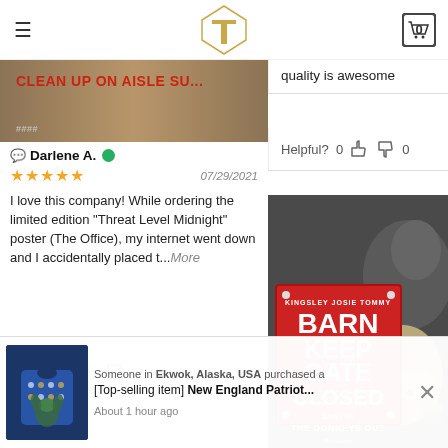Website header with hamburger menu, logo, and cart (0)
[Figure (screenshot): Product image strip showing 'CLEAN UP ON AISLE SU...' text in red on a distressed background]
Darlene A. [verified badge]
★★★★★  07/29/2021
I love this company! While ordering the limited edition "Threat Level Midnight" poster (The Office), my internet went down and I accidentally placed t...More
Helpful? 0 👍 👎 0
quality is awesome
Helpful? 0 👍 👎 0
[Figure (photo): Barn Keep Gate Closed - Don't let The Donkeys Out - No matter what they tell you! personalized sign with donkey image]
[Figure (photo): New England Patriots ugly sweater product thumbnail]
Someone in Ekwok, Alaska, USA purchased a
[Top-selling item] New England Patriot...
About 1 hour ago